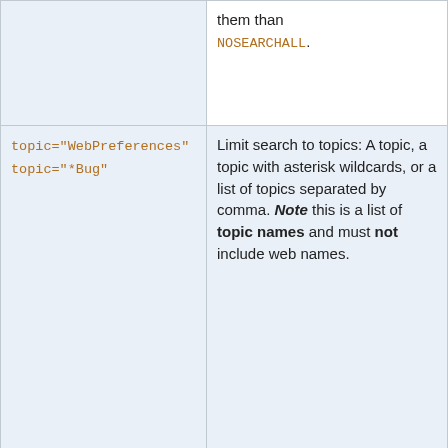| Parameter | Description | Default |
| --- | --- | --- |
|  | them than NOSEARCHALL. |  |
| topic="WebPreferences"
topic="*Bug" | Limit search to topics: A topic, a topic with asterisk wildcards, or a list of topics separated by comma. Note this is a list of topic names and must not include web names. | All topics in |
| excludetopic="Web*"
excludetopic="WebHome, WebChanges" | Exclude topics from search: A topic, a topic with asterisk wildcards, or a list of topics separated by comma. Note this is a list of topic names and must not include web names. | None |
| scope="topic" | Search topic name | "text" |